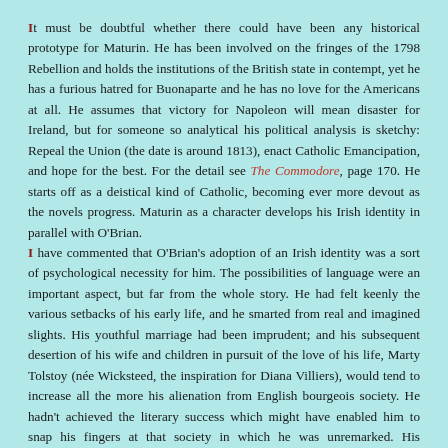It must be doubtful whether there could have been any historical prototype for Maturin. He has been involved on the fringes of the 1798 Rebellion and holds the institutions of the British state in contempt, yet he has a furious hatred for Buonaparte and he has no love for the Americans at all. He assumes that victory for Napoleon will mean disaster for Ireland, but for someone so analytical his political analysis is sketchy: Repeal the Union (the date is around 1813), enact Catholic Emancipation, and hope for the best. For the detail see The Commodore, page 170. He starts off as a deistical kind of Catholic, becoming ever more devout as the novels progress. Maturin as a character develops his Irish identity in parallel with O'Brian.
I have commented that O'Brian's adoption of an Irish identity was a sort of psychological necessity for him. The possibilities of language were an important aspect, but far from the whole story. He had felt keenly the various setbacks of his early life, and he smarted from real and imagined slights. His youthful marriage had been imprudent; and his subsequent desertion of his wife and children in pursuit of the love of his life, Marty Tolstoy (née Wicksteed, the inspiration for Diana Villiers), would tend to increase all the more his alienation from English bourgeois society. He hadn't achieved the literary success which might have enabled him to snap his fingers at that society in which he was unremarked. His abnormal sensitivity made this whole situation extremely painful for him. These sensitivities become part of the emotional make-up of Maturin who takes offence at the slightest provocation.
In this context, Ireland must have seemed like an Arcadia of the